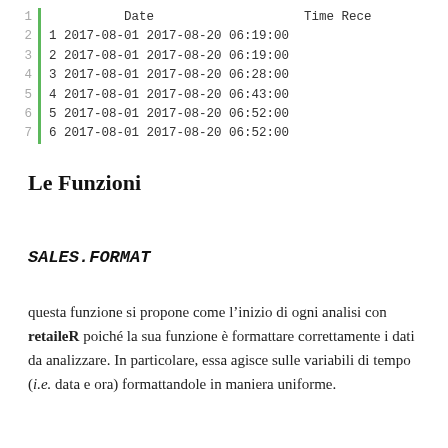|  | Date |  | Time | Rece |
| --- | --- | --- | --- | --- |
| 1 | 2017-08-01 | 2017-08-20 | 06:19:00 |  |
| 2 | 2017-08-01 | 2017-08-20 | 06:19:00 |  |
| 3 | 2017-08-01 | 2017-08-20 | 06:28:00 |  |
| 4 | 2017-08-01 | 2017-08-20 | 06:43:00 |  |
| 5 | 2017-08-01 | 2017-08-20 | 06:52:00 |  |
| 6 | 2017-08-01 | 2017-08-20 | 06:52:00 |  |
Le Funzioni
SALES.FORMAT
questa funzione si propone come l’inizio di ogni analisi con retaileR poiché la sua funzione è formattare correttamente i dati da analizzare. In particolare, essa agisce sulle variabili di tempo (i.e. data e ora) formattandole in maniera uniforme.